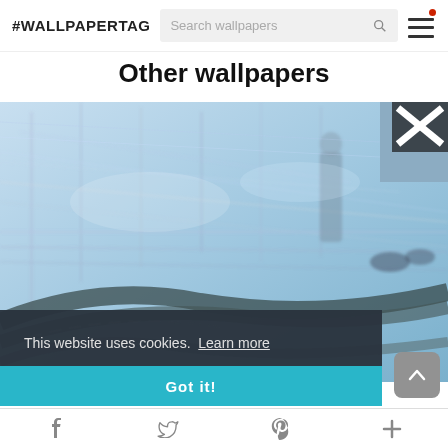#WALLPAPERTAG  [Search wallpapers]  [menu icon]
Other wallpapers
[Figure (photo): Abstract artistic photo of a city intersection/highway with motion blur effect, people walking, blue and white tones with a black X icon visible in upper right corner]
This website uses cookies.  Learn more
Got it!
f  [twitter]  [pinterest]  +